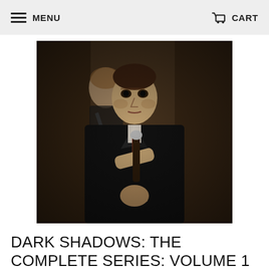MENU   CART
[Figure (photo): Two actors in dark clothing, the foreground figure pointing toward the camera while holding a cane, with a second figure visible behind them. Scene appears to be from a gothic television drama.]
DARK SHADOWS: THE COMPLETE SERIES: VOLUME 1 SECOND EDITION